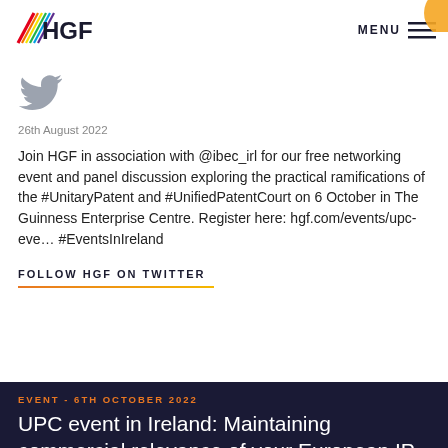HGF — MENU
[Figure (logo): HGF logo with rainbow diagonal slash and letters HGF]
[Figure (illustration): Twitter bird icon in grey]
26th August 2022
Join HGF in association with @ibec_irl for our free networking event and panel discussion exploring the practical ramifications of the #UnitaryPatent and #UnifiedPatentCourt on 6 October in The Guinness Enterprise Centre. Register here: hgf.com/events/upc-eve… #EventsInIreland
FOLLOW HGF ON TWITTER
EVENT - 6TH OCTOBER 2022
UPC event in Ireland: Maintaining commercial relevance of your European IP strategy with the new Unified Patent Court system